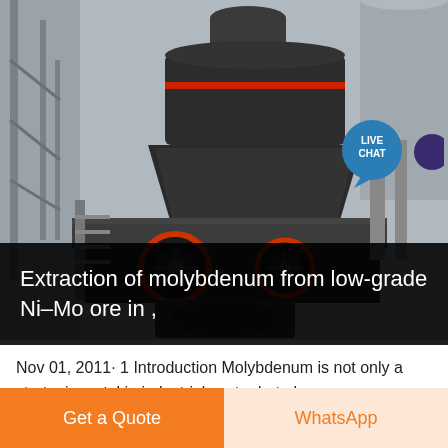[Figure (photo): Industrial mining/crushing machine (cone crusher or similar heavy equipment) photographed in a factory or industrial setting. Machine is large, dark grey/black metal, with visible mechanical components including a belt drive wheel with orange/red rim, cylindrical body, and scaffolding visible in background.]
Extraction of molybdenum from low-grade Ni–Mo ore in ,
Nov 01, 2011· 1 Introduction Molybdenum is not only a strategic metal in industrial sector but also a necessary element for human body and plants (Archana et al. 1996
Get a Quote
WhatsApp